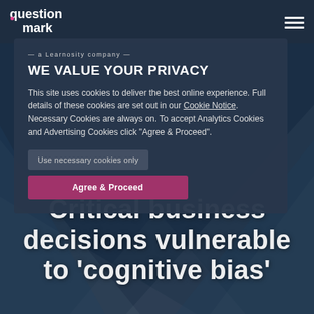[Figure (screenshot): Screenshot of Questionmark website with cookie consent popup overlay on a dark blue background. The page shows a 'WE VALUE YOUR PRIVACY' cookie notice with options to use necessary cookies only or Agree & Proceed. Behind the popup is the main page headline 'Critical business decisions vulnerable to cognitive bias'.]
Critical business decisions vulnerable to 'cognitive bias'